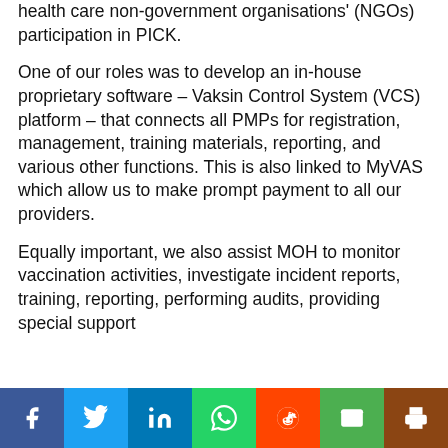health care non-government organisations' (NGOs) participation in PICK.
One of our roles was to develop an in-house proprietary software – Vaksin Control System (VCS) platform – that connects all PMPs for registration, management, training materials, reporting, and various other functions. This is also linked to MyVAS which allow us to make prompt payment to all our providers.
Equally important, we also assist MOH to monitor vaccination activities, investigate incident reports, training, reporting, performing audits, providing special support
[Figure (other): Social sharing bar with buttons for Facebook, Twitter, LinkedIn, WhatsApp, Reddit, Email, and Print]